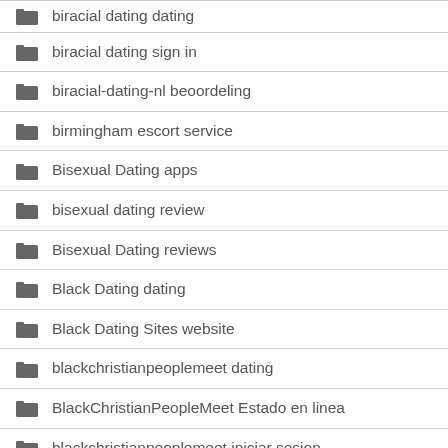biracial dating dating
biracial dating sign in
biracial-dating-nl beoordeling
birmingham escort service
Bisexual Dating apps
bisexual dating review
Bisexual Dating reviews
Black Dating dating
Black Dating Sites website
blackchristianpeoplemeet dating
BlackChristianPeopleMeet Estado en linea
blackchristianpeoplemeet iniciar sesion